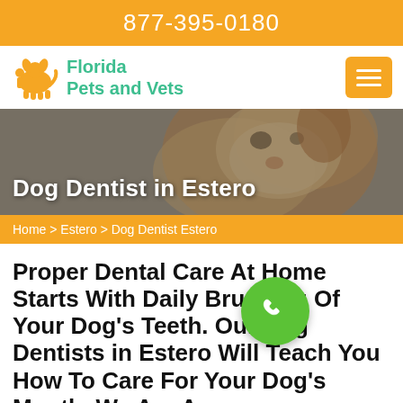877-395-0180
[Figure (logo): Florida Pets and Vets logo with orange pet silhouette icon and teal text]
[Figure (photo): Hero image of a small fluffy dog (chihuahua mix) being held, with gray/blurred background overlay]
Dog Dentist in Estero
Home > Estero > Dog Dentist Estero
Proper Dental Care At Home Starts With Daily Brushing Of Your Dog's Teeth. Our Dog Dentists in Estero Will Teach You How To Care For Your Dog's Mouth. We Are A